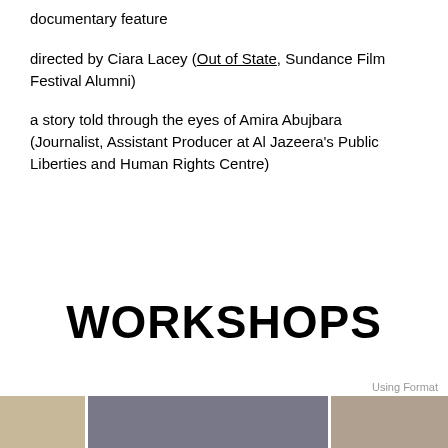documentary feature
directed by Ciara Lacey (Out of State, Sundance Film Festival Alumni)
a story told through the eyes of Amira Abujbara (Journalist, Assistant Producer at Al Jazeera's Public Liberties and Human Rights Centre)
WORKSHOPS
Using Format
[Figure (photo): A photo strip at the bottom of the page showing workshop-related imagery including equipment and people]